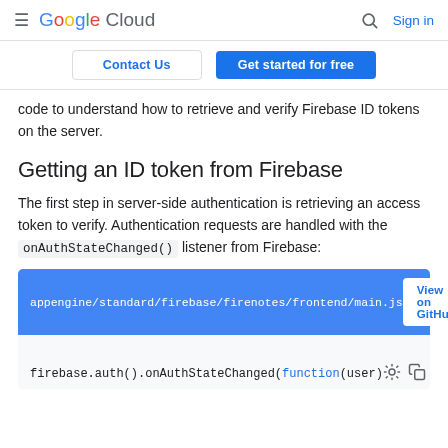≡ Google Cloud  🔍 Sign in
Contact Us | Get started for free
code to understand how to retrieve and verify Firebase ID tokens on the server.
Getting an ID token from Firebase
The first step in server-side authentication is retrieving an access token to verify. Authentication requests are handled with the onAuthStateChanged() listener from Firebase:
appengine/standard/firebase/firenotes/frontend/main.js  View on GitHub
firebase.auth().onAuthStateChanged(function(user)